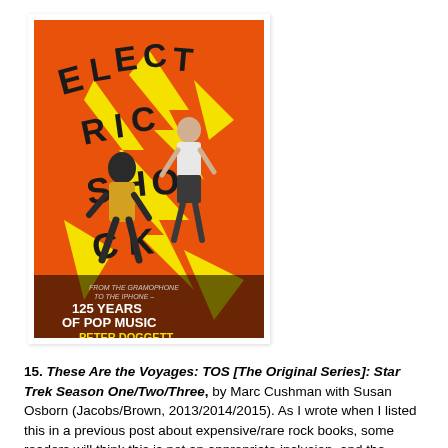[Figure (illustration): Book cover of 'Electric Shock: From the Gramophone to the iPhone – 125 Years of Pop Music' by Peter Doggett. Orange background with bold yellow and black graphic lettering spelling 'ELECTRIC SHOCK' in a jagged style, with two dancing figures in black and white. Bottom text reads 'FROM THE GRAMOPHONE TO THE IPHONE – 125 YEARS OF POP MUSIC' and 'PETER DOGGETT'.]
15. These Are the Voyages: TOS [The Original Series]: Star Trek Season One/Two/Three, by Marc Cushman with Susan Osborn (Jacobs/Brown, 2013/2014/2015). As I wrote when I listed this in a previous post about expensive/rare rock books, some readers will think this is not an appropriate inclusion, and there